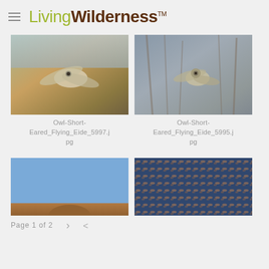LivingWilderness™
[Figure (photo): Short-eared owl in flight over grassy field with blurred background]
Owl-Short-Eared_Flying_Eide_5997.jpg
[Figure (photo): Short-eared owl flying near dried brush/branches with blurred background]
Owl-Short-Eared_Flying_Eide_5995.jpg
[Figure (photo): Partially visible bird photo with blue sky background, partially cut off at bottom]
[Figure (photo): Dense flock of birds or dense feather texture in blue, orange and dark tones]
Page 1 of 2